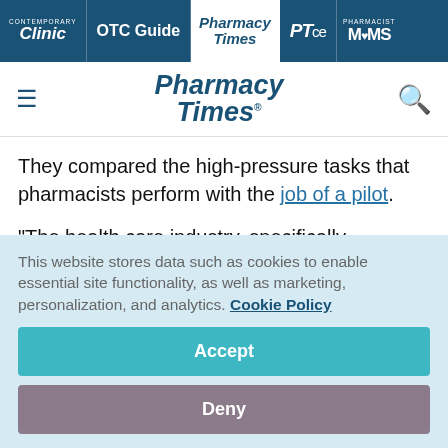Contemporary Clinic | OTC Guide | Pharmacy Times | PTce | Pharmacist MOMS
Pharmacy Times
They compared the high-pressure tasks that pharmacists perform with the job of a pilot.
“The health care industry, specifically pharmacy operations, resembles the high-acuity, high-
This website stores data such as cookies to enable essential site functionality, as well as marketing, personalization, and analytics. Cookie Policy
Accept
Deny